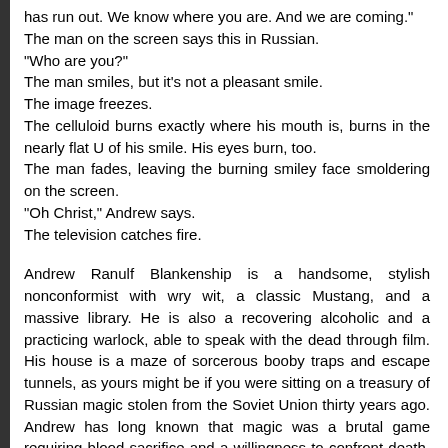has run out. We know where you are. And we are coming."
The man on the screen says this in Russian.
"Who are you?"
The man smiles, but it's not a pleasant smile.
The image freezes.
The celluloid burns exactly where his mouth is, burns in the nearly flat U of his smile. His eyes burn, too.
The man fades, leaving the burning smiley face smoldering on the screen.
"Oh Christ," Andrew says.
The television catches fire.
Andrew Ranulf Blankenship is a handsome, stylish nonconformist with wry wit, a classic Mustang, and a massive library. He is also a recovering alcoholic and a practicing warlock, able to speak with the dead through film. His house is a maze of sorcerous booby traps and escape tunnels, as yours might be if you were sitting on a treasury of Russian magic stolen from the Soviet Union thirty years ago. Andrew has long known that magic was a brutal game requiring blood sacrifice and a willingness to confront death, but his many years of peace and comfort have left him soft, more concerned with maintaining false youth than with seeing to his own defense. Now a monster straight from the pages of Russian folklore is coming for him, and frost and death are coming with her.